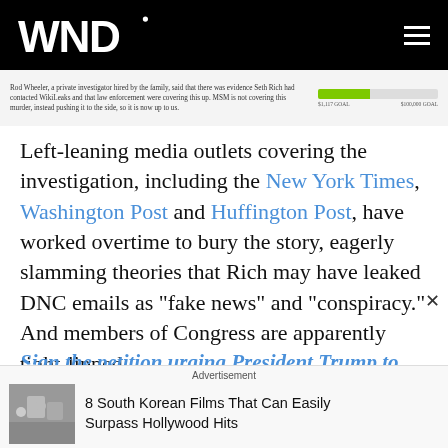WND
[Figure (infographic): Crowdfunding campaign banner with small text about Rod Wheeler investigation and a green progress bar showing $1,117 raised toward $100,000 goal]
Left-leaning media outlets covering the investigation, including the New York Times, Washington Post and Huffington Post, have worked overtime to bury the story, eagerly slamming theories that Rich may have leaked DNC emails as "fake news" and "conspiracy." And members of Congress are apparently tight-lipped.
Sign the petition urging President Trump to press for an official investigation into the unsolved murder of DNC staffer Seth Rich
Advertisement
8 South Korean Films That Can Easily Surpass Hollywood Hits